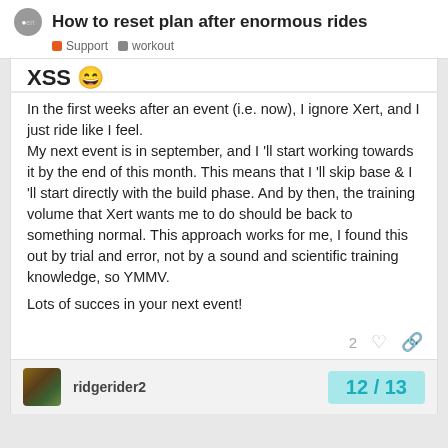How to reset plan after enormous rides
Support  workout
XSS 😀
In the first weeks after an event (i.e. now), I ignore Xert, and I just ride like I feel.
My next event is in september, and I 'll start working towards it by the end of this month. This means that I 'll skip base & I 'll start directly with the build phase. And by then, the training volume that Xert wants me to do should be back to something normal. This approach works for me, I found this out by trial and error, not by a sound and scientific training knowledge, so YMMV.

Lots of succes in your next event!
2
ridgerider2
12 / 13